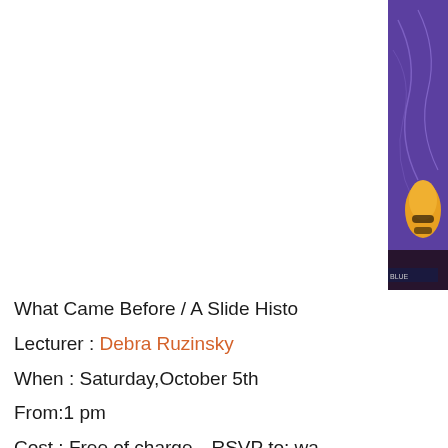[Figure (illustration): Decorative image panel on the right side showing a bee/insect on a purple/blue background with abstract leaf outlines, partially cropped]
What Came Before / A Slide Histo
Lecturer : Debra Ruzinsky
When : Saturday,October 5th
From:1 pm
Cost : Free of charge…RSVP to: wa